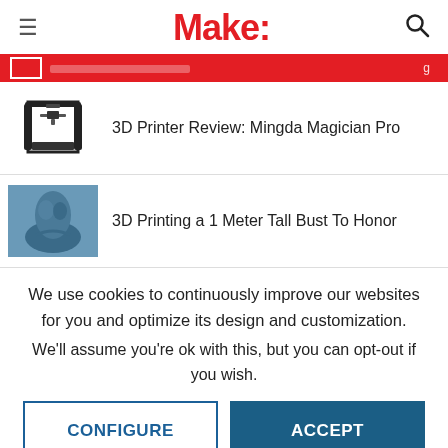Make:
[Figure (screenshot): Red banner strip with white box icon]
3D Printer Review: Mingda Magician Pro
3D Printing a 1 Meter Tall Bust To Honor
We use cookies to continuously improve our websites for you and optimize its design and customization.
We'll assume you're ok with this, but you can opt-out if you wish.
CONFIGURE
ACCEPT